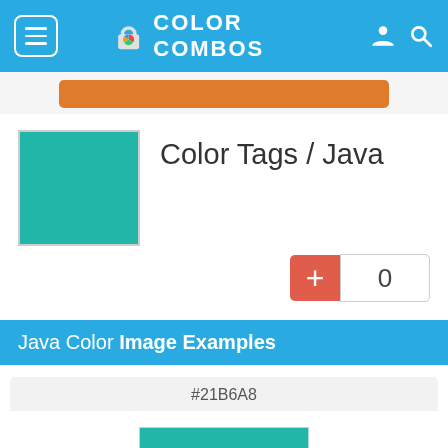COLOR COMBOS
Color Tags / Java
0
Java Color Image Examples
#21B6A8
[Figure (illustration): A teal/turquoise colored square swatch representing color #21B6A8 (Java color)]